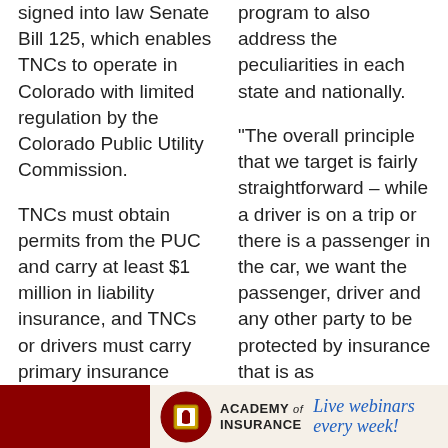signed into law Senate Bill 125, which enables TNCs to operate in Colorado with limited regulation by the Colorado Public Utility Commission.
TNCs must obtain permits from the PUC and carry at least $1 million in liability insurance, and TNCs or drivers must carry primary insurance coverage during the gap between when a driver has an app on and is looking for fares but hasn't been matched
program to also address the peculiarities in each state and nationally.
“The overall principle that we target is fairly straightforward – while a driver is on a trip or there is a passenger in the car, we want the passenger, driver and any other party to be protected by insurance that is as
[Figure (logo): Academy of Insurance advertisement banner with logo and 'Live webinars every week!' tagline on dark red and cream background]